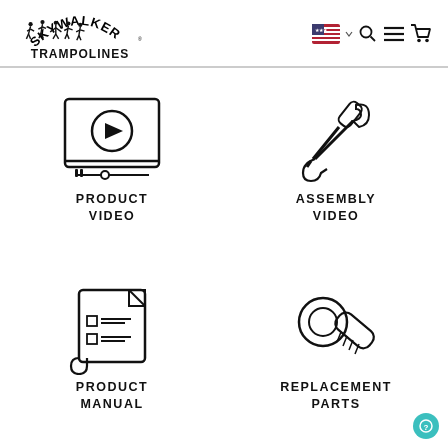[Figure (logo): Skywalker Trampolines logo with silhouettes of jumping people and text]
[Figure (infographic): Navigation icons: US flag language selector, search magnifying glass, hamburger menu, shopping cart]
[Figure (infographic): Video player icon representing Product Video link]
PRODUCT
VIDEO
[Figure (infographic): Crossed screwdriver and wrench icon representing Assembly Video link]
ASSEMBLY
VIDEO
[Figure (infographic): Scrolled document/manual icon representing Product Manual link]
PRODUCT
MANUAL
[Figure (infographic): Bolt and wrench/tool icon representing Replacement Parts link]
REPLACEMENT
PARTS